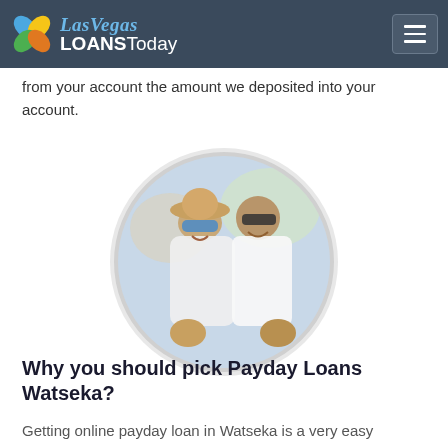Las Vegas LOANSToday
from your account the amount we deposited into your account.
[Figure (photo): A smiling couple, a woman wearing a straw hat and blue sunglasses and a man wearing dark sunglasses, both giving thumbs up, shown in a circular cropped photo.]
Why you should pick Payday Loans Watseka?
Getting online payday loan in Watseka is a very easy